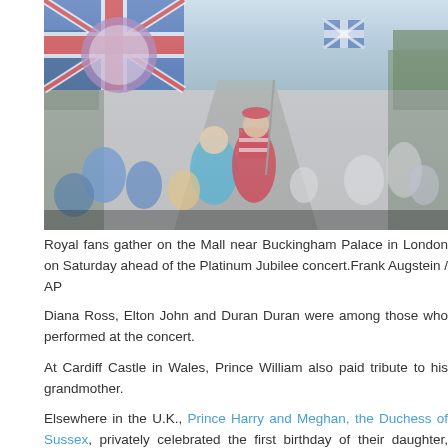[Figure (photo): Royal fans gathered on the Mall near Buckingham Palace in London, waving Union Jack flags and a Jubilee flag, ahead of the Platinum Jubilee concert. Large crowd fills the tree-lined avenue.]
Royal fans gather on the Mall near Buckingham Palace in London on Saturday ahead of the Platinum Jubilee concert.Frank Augstein / AP
Diana Ross, Elton John and Duran Duran were among those who performed at the concert.
At Cardiff Castle in Wales, Prince William also paid tribute to his grandmother.
Elsewhere in the U.K., Prince Harry and Meghan, the Duchess of Sussex, privately celebrated the first birthday of their daughter, Lilibet